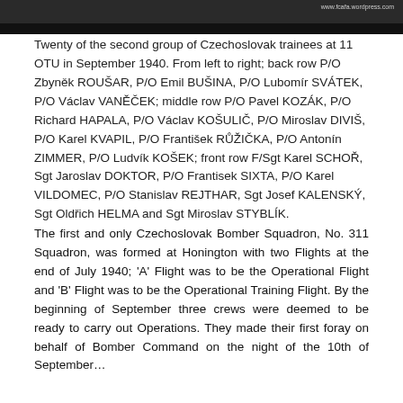[Figure (photo): Black and white group photograph of Czechoslovak trainees at 11 OTU in September 1940, showing approximately twenty men in rows. A watermark URL www.fcafa.wordpress.com is visible.]
Twenty of the second group of Czechoslovak trainees at 11 OTU in September 1940. From left to right; back row P/O Zbyněk ROUŠAR, P/O Emil BUŠINA, P/O Lubomír SVÁTEK, P/O Václav VANĚČEK; middle row P/O Pavel KOZÁK, P/O Richard HAPALA, P/O Václav KOŠULIČ, P/O Miroslav DIVIŠ, P/O Karel KVAPIL, P/O František RŮŽIČKA, P/O Antonín ZIMMER, P/O Ludvík KOŠEK; front row F/Sgt Karel SCHOŘ, Sgt Jaroslav DOKTOR, P/O Frantisek SIXTA, P/O Karel VILDOMEC, P/O Stanislav REJTHAR, Sgt Josef KALENSKÝ, Sgt Oldřich HELMA and Sgt Miroslav STYBLÍK.
The first and only Czechoslovak Bomber Squadron, No. 311 Squadron, was formed at Honington with two Flights at the end of July 1940; 'A' Flight was to be the Operational Flight and 'B' Flight was to be the Operational Training Flight. By the beginning of September three crews were deemed to be ready to carry out Operations. They made their first foray on behalf of Bomber Command on the night of the 10th of September…